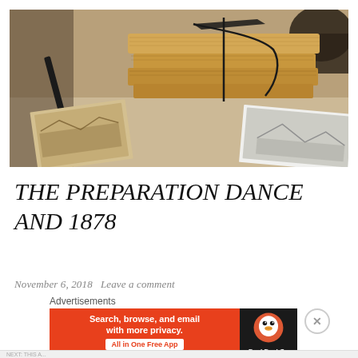[Figure (photo): A stack of old, worn books tied with black string/twine, resting on a surface alongside a pen/pencil, vintage photographs/postcards, and what appears to be a dark cup or container in the background. Warm, sepia-toned photography with a vintage feel.]
THE PREPARATION DANCE AND 1878
November 6, 2018   Leave a comment
Advertisements
[Figure (screenshot): DuckDuckGo advertisement banner. Orange left section with white text: 'Search, browse, and email with more privacy.' and a white pill button 'All in One Free App'. Dark right section with DuckDuckGo logo (duck icon) and brand name.]